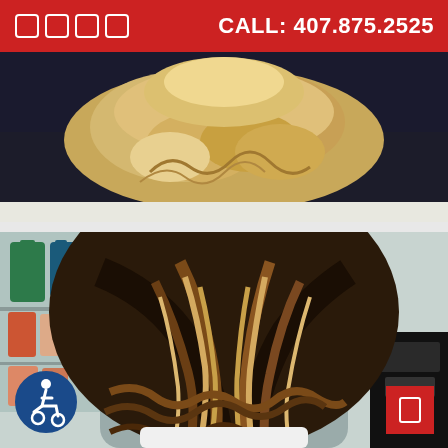CALL: 407.875.2525
[Figure (photo): Back view of a person with blonde curly updo hairstyle against dark background]
[Figure (photo): Back view of a person with long wavy brown hair with blonde balayage highlights, in a hair salon with product shelves visible in background]